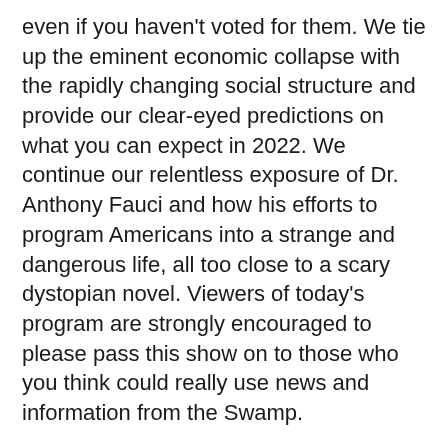even if you haven't voted for them. We tie up the eminent economic collapse with the rapidly changing social structure and provide our clear-eyed predictions on what you can expect in 2022. We continue our relentless exposure of Dr. Anthony Fauci and how his efforts to program Americans into a strange and dangerous life, all too close to a scary dystopian novel. Viewers of today's program are strongly encouraged to please pass this show on to those who you think could really use news and information from the Swamp.
Listen now
[Figure (infographic): Social media sharing bar with four buttons: LinkedIn (blue), Facebook (dark blue), Twitter (light blue), Share (green)]